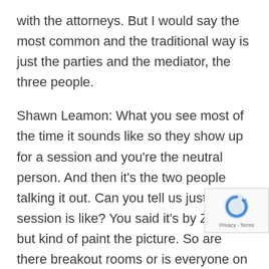with the attorneys. But I would say the most common and the traditional way is just the parties and the mediator, the three people.
Shawn Leamon: What you see most of the time it sounds like so they show up for a session and you're the neutral person. And then it's the two people talking it out. Can you tell us just what a session is like? You said it's by Zoom, but kind of paint the picture. So are there breakout rooms or is everyone on the same Zoom these days? Just give us the mechanics of that.
Monica Mazzei: Sure. So typically we'll start out